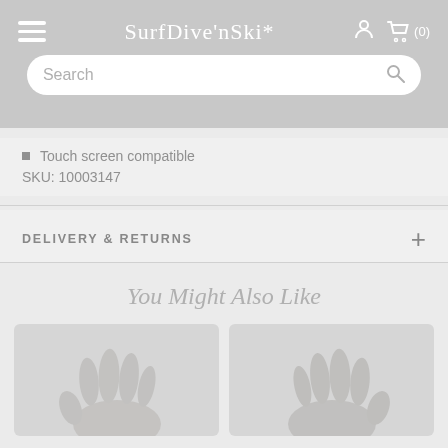SurfDive'nSki* (0)
Touch screen compatible
SKU: 10003147
DELIVERY & RETURNS
You Might Also Like
[Figure (photo): Two product thumbnail images showing gloves, side by side, against a light grey background]